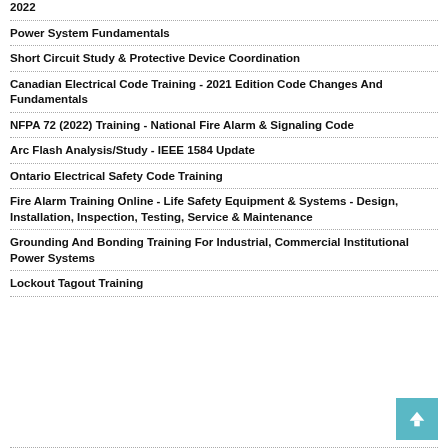2022
Power System Fundamentals
Short Circuit Study & Protective Device Coordination
Canadian Electrical Code Training - 2021 Edition Code Changes And Fundamentals
NFPA 72 (2022) Training - National Fire Alarm & Signaling Code
Arc Flash Analysis/Study - IEEE 1584 Update
Ontario Electrical Safety Code Training
Fire Alarm Training Online - Life Safety Equipment & Systems - Design, Installation, Inspection, Testing, Service & Maintenance
Grounding And Bonding Training For Industrial, Commercial Institutional Power Systems
Lockout Tagout Training